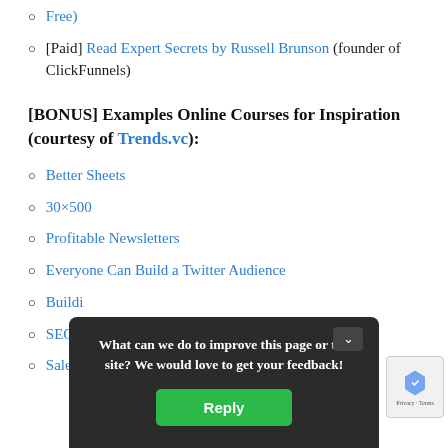Free)
[Paid] Read Expert Secrets by Russell Brunson (founder of ClickFunnels)
[BONUS] Examples Online Courses for Inspiration (courtesy of Trends.vc):
Better Sheets
30×500
Profitable Newsletters
Everyone Can Build a Twitter Audience
Buildi
SEO T
Sales
[Figure (screenshot): Feedback popup overlay: 'What can we do to improve this page or the site? We would love to get your feedback!' with a green Reply button]